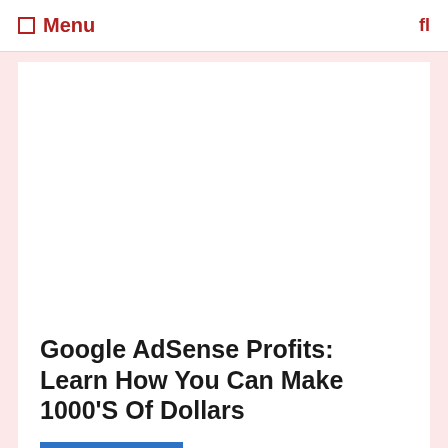Menu
[Figure (other): White blank image area at top of article card]
Google AdSense Profits: Learn How You Can Make 1000'S Of Dollars
Dowload